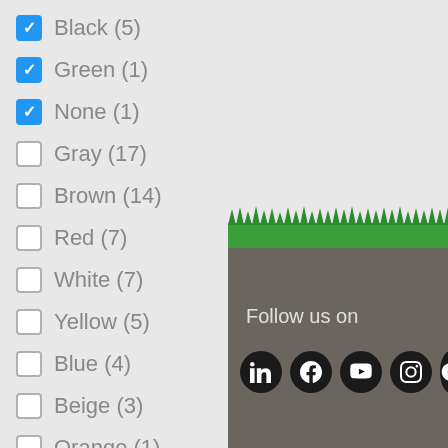Black (5) — checked
Green (1) — checked
None (1) — checked
Gray (17) — unchecked
Brown (14) — unchecked
Red (7) — unchecked
White (7) — unchecked
Yellow (5) — unchecked
Blue (4) — unchecked
Beige (3) — unchecked
Orange (1) — unchecked
Tan (1) — unchecked
[Figure (illustration): Green grass decorative strip above footer]
Follow us on
[Figure (infographic): Social media icons: LinkedIn, Facebook, YouTube, Instagram, and one more (partially visible)]